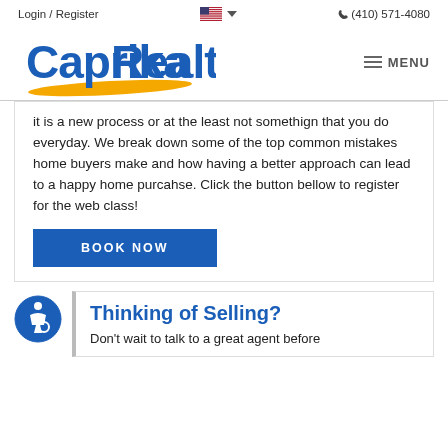Login / Register   (410) 571-4080
[Figure (logo): Caprika Realty logo with blue cursive text and yellow swoosh underline, with hamburger MENU icon]
it is a new process or at the least not somethign that you do everyday. We break down some of the top common mistakes home buyers make and how having a better approach can lead to a happy home purcahse. Click the button bellow to register for the web class!
BOOK NOW
[Figure (logo): Blue circular accessibility icon with person in wheelchair]
Thinking of Selling?
Don't wait to talk to a great agent before